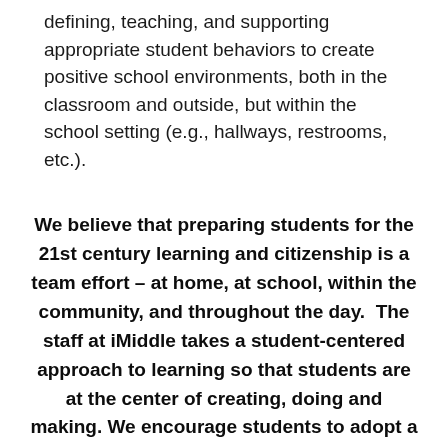defining, teaching, and supporting appropriate student behaviors to create positive school environments, both in the classroom and outside, but within the school setting (e.g., hallways, restrooms, etc.).
We believe that preparing students for the 21st century learning and citizenship is a team effort – at home, at school, within the community, and throughout the day.  The staff at iMiddle takes a student-centered approach to learning so that students are at the center of creating, doing and making. We encourage students to adopt a growth mindset, to be open to being challenged and to recognize failures as